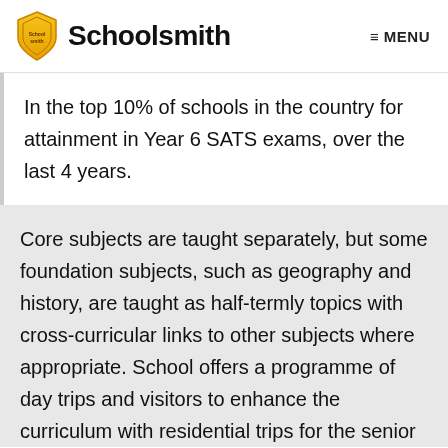Schoolsmith  MENU
In the top 10% of schools in the country for attainment in Year 6 SATS exams, over the last 4 years.
Core subjects are taught separately, but some foundation subjects, such as geography and history, are taught as half-termly topics with cross-curricular links to other subjects where appropriate. School offers a programme of day trips and visitors to enhance the curriculum with residential trips for the senior